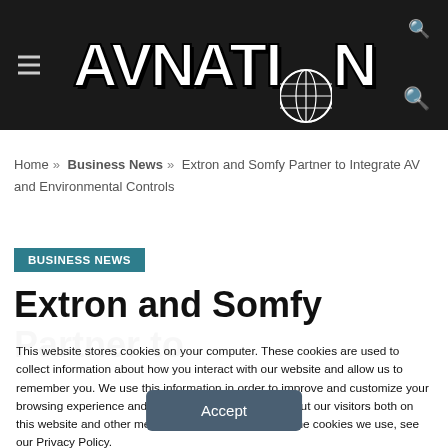AV NATION
Home » Business News » Extron and Somfy Partner to Integrate AV and Environmental Controls
BUSINESS NEWS
Extron and Somfy Partner to
This website stores cookies on your computer. These cookies are used to collect information about how you interact with our website and allow us to remember you. We use this information in order to improve and customize your browsing experience and for analytics and metrics about our visitors both on this website and other media. To find out more about the cookies we use, see our Privacy Policy.
Accept